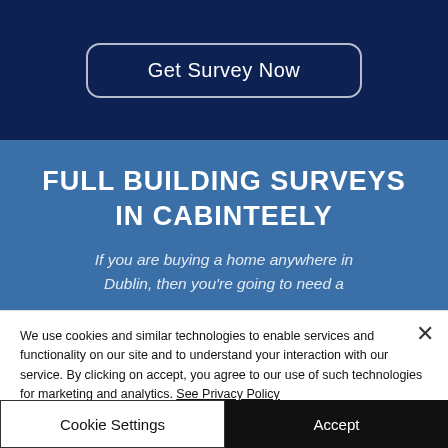[Figure (screenshot): Button with rounded rectangle border on dark navy background reading 'Get Survey Now' in white text]
FULL BUILDING SURVEYS IN CABINTEELY
If you are buying a home anywhere in Dublin, then you're going to need a
We use cookies and similar technologies to enable services and functionality on our site and to understand your interaction with our service. By clicking on accept, you agree to our use of such technologies for marketing and analytics. See Privacy Policy
Cookie Settings
Accept